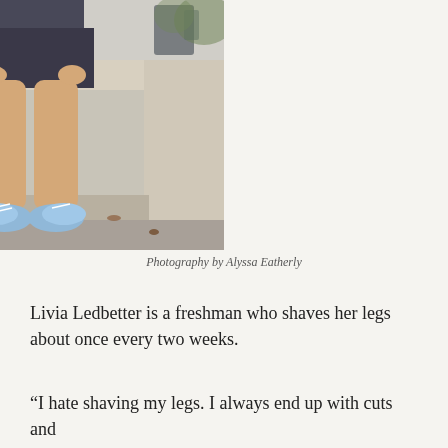[Figure (photo): A person sitting on a concrete bench outdoors, wearing dark shorts, a dark top, and light blue sneakers. Only the lower body and legs are visible. The background shows a courtyard with leaves on the ground and brick walls.]
Photography by Alyssa Eatherly
Livia Ledbetter is a freshman who shaves her legs about once every two weeks.
“I hate shaving my legs. I always end up with cuts and